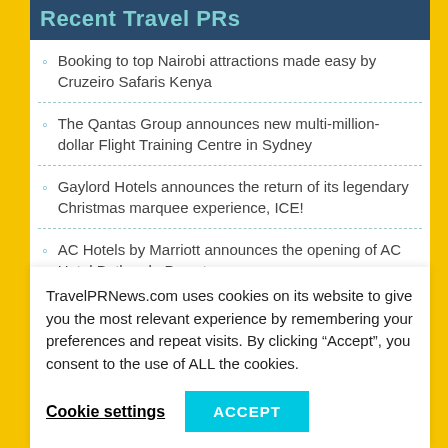Recent Travel PRs
Booking to top Nairobi attractions made easy by Cruzeiro Safaris Kenya
The Qantas Group announces new multi-million-dollar Flight Training Centre in Sydney
Gaylord Hotels announces the return of its legendary Christmas marquee experience, ICE!
AC Hotels by Marriott announces the opening of AC Hotel Bethesda Downtown
Emirates kick-starts its multi-billion dollar project with upgrade of entire interior cabins of 120 Airbus A380
TravelPRNews.com uses cookies on its website to give you the most relevant experience by remembering your preferences and repeat visits. By clicking “Accept”, you consent to the use of ALL the cookies.
Cookie settings
ACCEPT